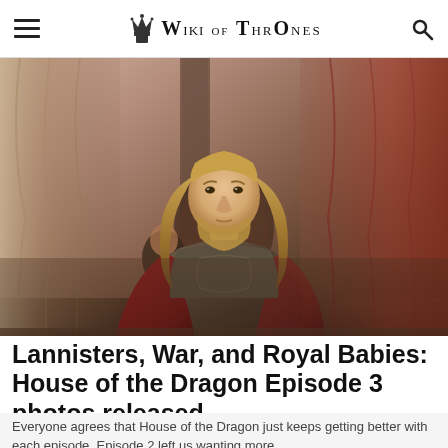WIKI OF THRONES
[Figure (photo): A man with long blond hair and a beard wearing armor and a red cape sits on an ornate chair in a grand hall with curtains and columns in the background. A second person is partially visible behind him.]
NEWS / 1 day ago
Lannisters, War, and Royal Babies: House of the Dragon Episode 3 photos released
Everyone agrees that House of the Dragon just keeps getting better with each episode. Episode 2 left us wanting more...